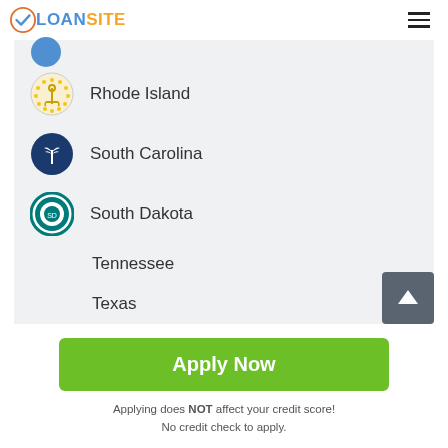LOANSITE
Rhode Island
South Carolina
South Dakota
Tennessee
Texas
Apply Now
Applying does NOT affect your credit score!
No credit check to apply.